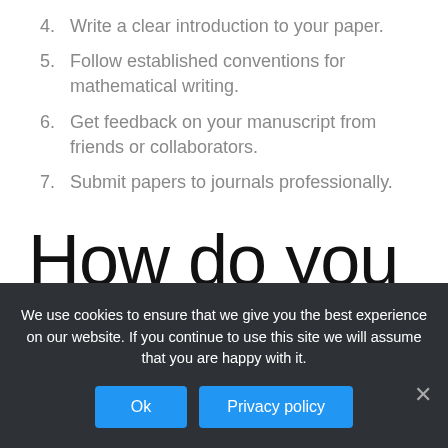4. Write a clear introduction to your paper.
5. Follow established conventions for mathematical writing.
6. Get feedback on your manuscript from friends or collaborators.
7. Submit papers to journals professionally.
How do you make blue ink at home?
We use cookies to ensure that we give you the best experience on our website. If you continue to use this site we will assume that you are happy with it.